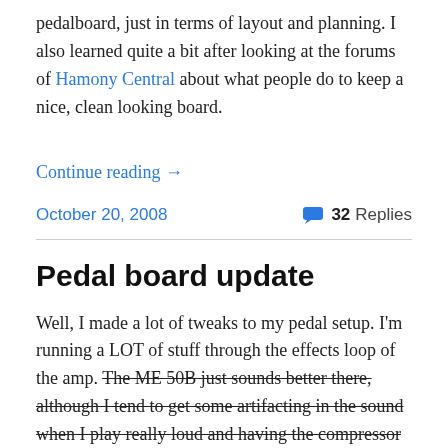pedalboard, just in terms of layout and planning.  I also learned quite a bit after looking at the forums of Hamony Central about what people do to keep a nice, clean looking board.
Continue reading →
October 20, 2008   💬 32 Replies
Pedal board update
Well, I made a lot of tweaks to my pedal setup.  I'm running a LOT of stuff through the effects loop of the amp.  The ME 50B just sounds better there, although I tend to get some artifacting in the sound when I play really loud and having the compressor in the effects loop can